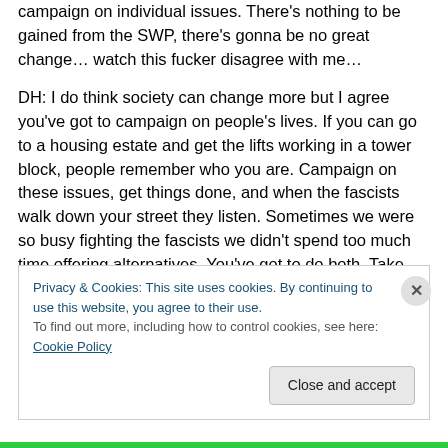campaign on individual issues. There's nothing to be gained from the SWP, there's gonna be no great change… watch this fucker disagree with me…
DH: I do think society can change more but I agree you've got to campaign on people's lives. If you can go to a housing estate and get the lifts working in a tower block, people remember who you are. Campaign on these issues, get things done, and when the fascists walk down your street they listen. Sometimes we were so busy fighting the fascists we didn't spend too much time offering alternatives. You've got to do both. Take people's hearts
Privacy & Cookies: This site uses cookies. By continuing to use this website, you agree to their use.
To find out more, including how to control cookies, see here: Cookie Policy